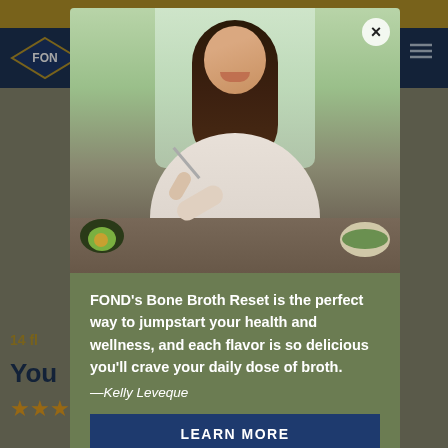[Figure (screenshot): Website screenshot showing a popup modal over a product page. The background shows a navigation bar with FOND logo and partially visible product page. A modal dialog overlays the page featuring a photo of a smiling brunette woman eating a salad in a kitchen, followed by a quote from Kelly Leveque about FOND's Bone Broth Reset, and a 'LEARN MORE' button.]
FOND's Bone Broth Reset is the perfect way to jumpstart your health and wellness, and each flavor is so delicious you'll crave your daily dose of broth.
—Kelly Leveque
LEARN MORE